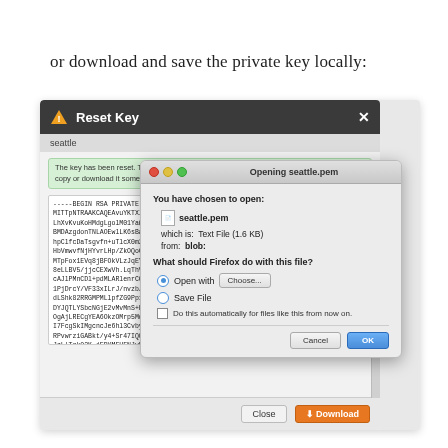or download and save the private key locally:
[Figure (screenshot): A screenshot showing a 'Reset Key' modal dialog with a dark title bar and warning icon displaying a private key text block, overlaid by a Firefox 'Opening seattle.pem' dialog asking what to do with the file, with options to Open with or Save File, and Cancel/OK buttons.]